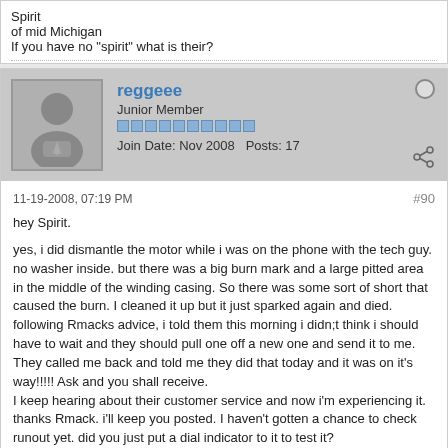Spirit
of mid Michigan
If you have no "spirit" what is their?
reggeee
Junior Member
Join Date: Nov 2008   Posts: 17
11-19-2008, 07:19 PM
#90
hey Spirit.

yes, i did dismantle the motor while i was on the phone with the tech guy. no washer inside. but there was a big burn mark and a large pitted area in the middle of the winding casing. So there was some sort of short that caused the burn. I cleaned it up but it just sparked again and died. following Rmacks advice, i told them this morning i didn;t think i should have to wait and they should pull one off a new one and send it to me. They called me back and told me they did that today and it was on it's way!!!!! Ask and you shall receive.
I keep hearing about their customer service and now i'm experiencing it. thanks Rmack. i'll keep you posted. I haven't gotten a chance to check runout yet. did you just put a dial indicator to it to test it?